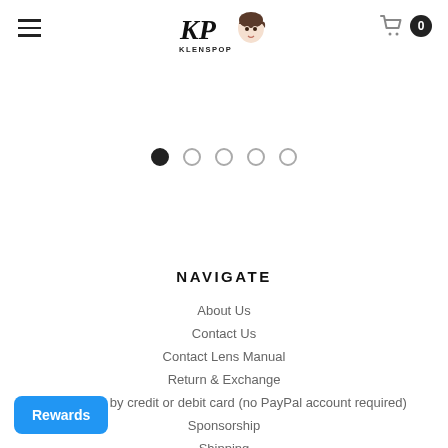KLENSPOP — navigation header with hamburger menu, logo, and cart
[Figure (other): Slideshow pagination dots: 5 dots, first dot filled/active, remaining 4 empty]
NAVIGATE
About Us
Contact Us
Contact Lens Manual
Return & Exchange
How to pay by credit or debit card (no PayPal account required)
Sponsorship
Shipping
Rewards